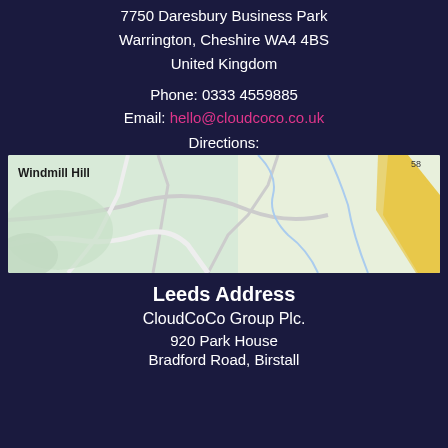7750 Daresbury Business Park
Warrington, Cheshire WA4 4BS
United Kingdom
Phone: 0333 4559885
Email: hello@cloudcoco.co.uk
Directions:
[Figure (map): Map showing area around Daresbury Business Park with Windmill Hill label, roads and green areas visible]
Leeds Address
CloudCoCo Group Plc.
920 Park House
Bradford Road, Birstall